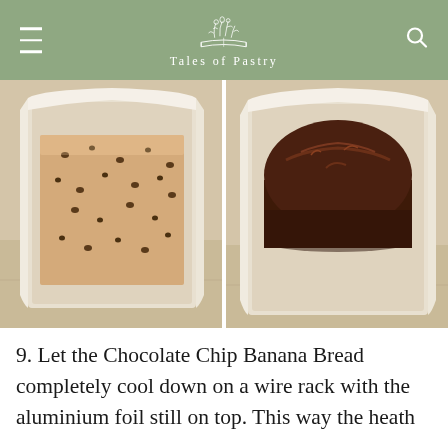Tales of Pastry
[Figure (photo): Two side-by-side photos of banana bread in parchment-lined loaf pans on a wooden surface. Left photo shows raw/unbaked batter (pale beige with chocolate chips). Right photo shows the fully baked dark brown chocolate chip banana bread loaf.]
9. Let the Chocolate Chip Banana Bread completely cool down on a wire rack with the aluminium foil still on top. This way the heath